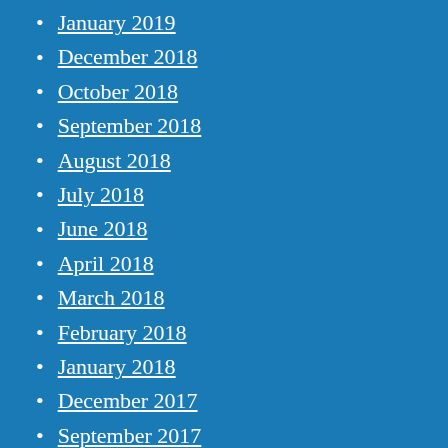January 2019
December 2018
October 2018
September 2018
August 2018
July 2018
June 2018
April 2018
March 2018
February 2018
January 2018
December 2017
September 2017
August 2017
July 2017
June 2017
May 2017